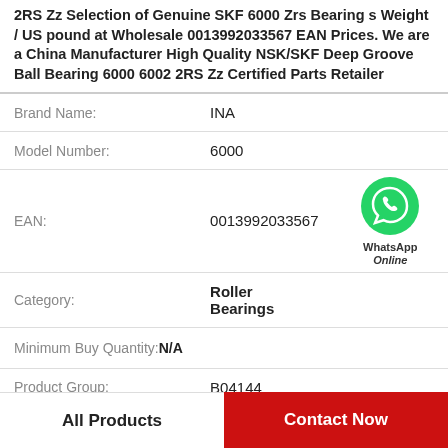2RS Zz Selection of Genuine SKF 6000 Zrs Bearing s Weight / US pound at Wholesale 0013992033567 EAN Prices. We are a China Manufacturer High Quality NSK/SKF Deep Groove Ball Bearing 6000 6002 2RS Zz Certified Parts Retailer
| Brand Name: | INA |
| Model Number: | 6000 |
| EAN: | 0013992033567 |
| Category: | Roller Bearings |
| Minimum Buy Quantity: | N/A |
| Product Group: | B04144 |
| Inventory: | 0.0 |
[Figure (other): WhatsApp Online green phone icon with text 'WhatsApp Online']
All Products
Contact Now